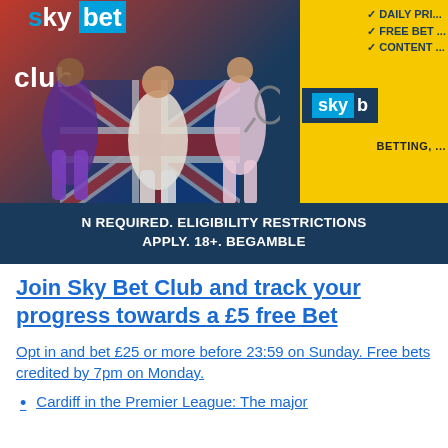[Figure (photo): Sky Bet Club advertisement banner showing sports players (football, tennis, basketball) against a red, white and blue background with 'club' text, Sky Bet logo, yellow panel with checkmarks for DAILY PRICE, FREE BET, CONTENT offerings, and a dark blue disclaimer bar at the bottom reading 'N REQUIRED. ELIGIBILITY RESTRICTIONS APPLY. 18+. BEGAMBLE']
Join Sky Bet Club and track your progress towards a £5 free Bet
Opt in and bet £25 or more before 23:59 on Sunday. Free bets credited by 7pm on Monday.
Cardiff in the Premier League: The major